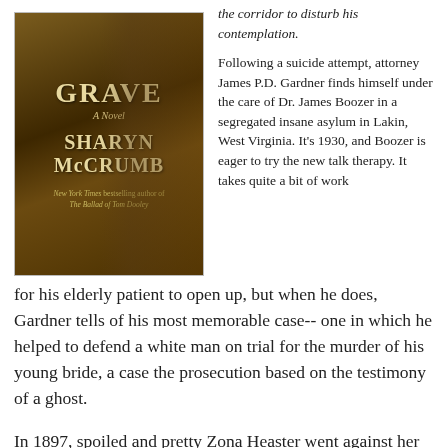[Figure (illustration): Book cover of a novel showing a ghostly woman's face against a dark forest background, titled 'GRAVE' with 'A Novel' subtitle, authored by Sharyn McCrumb, described as 'New York Times bestselling author of The Ballad of Tom Dooley']
the corridor to disturb his contemplation.
Following a suicide attempt, attorney James P.D. Gardner finds himself under the care of Dr. James Boozer in a segregated insane asylum in Lakin, West Virginia. It's 1930, and Boozer is eager to try the new talk therapy. It takes quite a bit of work for his elderly patient to open up, but when he does, Gardner tells of his most memorable case-- one in which he helped to defend a white man on trial for the murder of his young bride, a case the prosecution based on the testimony of a ghost.
In 1897, spoiled and pretty Zona Heaster went against her mother's advice and married Erasmus "Trout" Shue, a handsome blacksmith new to the county. Two months later,